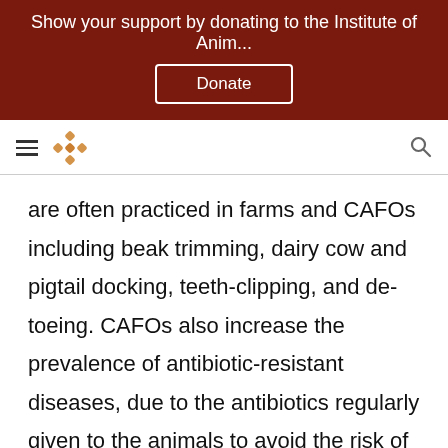Show your support by donating to the Institute of Anim...
are often practiced in farms and CAFOs including beak trimming, dairy cow and pigtail docking, teeth-clipping, and de-toeing. CAFOs also increase the prevalence of antibiotic-resistant diseases, due to the antibiotics regularly given to the animals to avoid the risk of diseases spreading between animals.